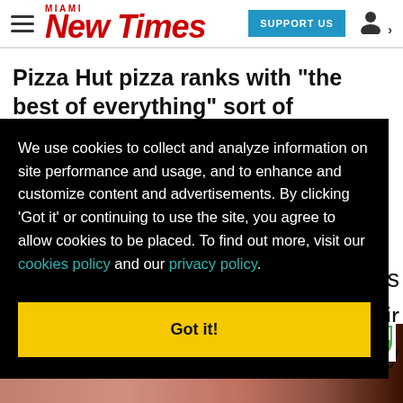Miami New Times — SUPPORT US
Pizza Hut pizza ranks with "the best of everything" sort of deserves a pizza-sponsored
We use cookies to collect and analyze information on site performance and usage, and to enhance and customize content and advertisements. By clicking 'Got it' or continuing to use the site, you agree to allow cookies to be placed. To find out more, visit our cookies policy and our privacy policy.
Got it!